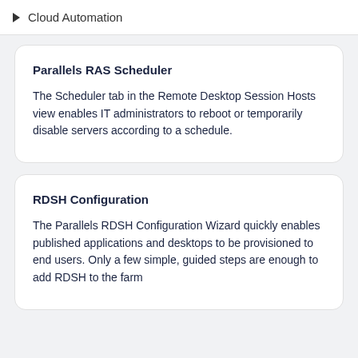Cloud Automation
Parallels RAS Scheduler
The Scheduler tab in the Remote Desktop Session Hosts view enables IT administrators to reboot or temporarily disable servers according to a schedule.
RDSH Configuration
The Parallels RDSH Configuration Wizard quickly enables published applications and desktops to be provisioned to end users. Only a few simple, guided steps are enough to add RDSH to the farm